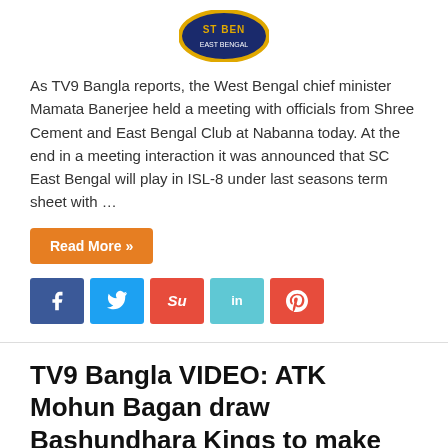[Figure (logo): Partial East Bengal club logo, circular with yellow and navy blue colors, showing 'ST BENG' text]
As TV9 Bangla reports, the West Bengal chief minister Mamata Banerjee held a meeting with officials from Shree Cement and East Bengal Club at Nabanna today. At the end in a meeting interaction it was announced that SC East Bengal will play in ISL-8 under last seasons term sheet with …
Read More »
[Figure (infographic): Social share buttons row: Facebook (blue), Twitter (light blue), StumbleUpon (red-orange), LinkedIn (cyan), Pinterest (red)]
TV9 Bangla VIDEO: ATK Mohun Bagan draw Bashundhara Kings to make AFC Cup knockouts!
2021-08-24   Asia , Indian Super League   Comments Off
[Figure (photo): Blurred photo of football players on a pitch, with stadium crowd in the background]